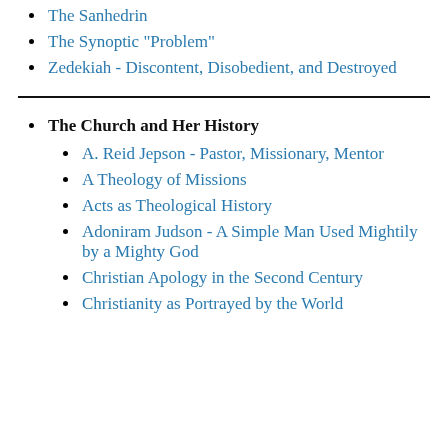The Sanhedrin
The Synoptic "Problem"
Zedekiah - Discontent, Disobedient, and Destroyed
The Church and Her History
A. Reid Jepson - Pastor, Missionary, Mentor
A Theology of Missions
Acts as Theological History
Adoniram Judson - A Simple Man Used Mightily by a Mighty God
Christian Apology in the Second Century
Christianity as Portrayed by the World